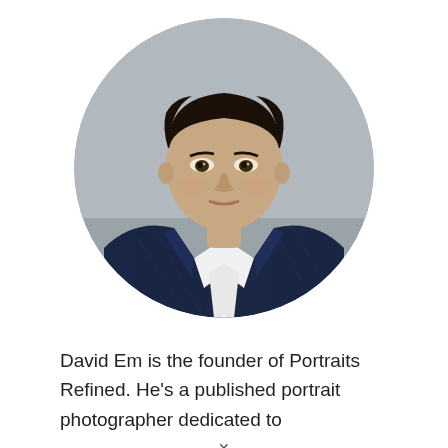[Figure (photo): Circular cropped professional headshot of David Em, an Asian man in a dark navy checkered blazer over a white shirt, against a neutral gray background. He has short dark hair and is looking directly at the camera.]
David Em is the founder of Portraits Refined. He’s a published portrait photographer dedicated to